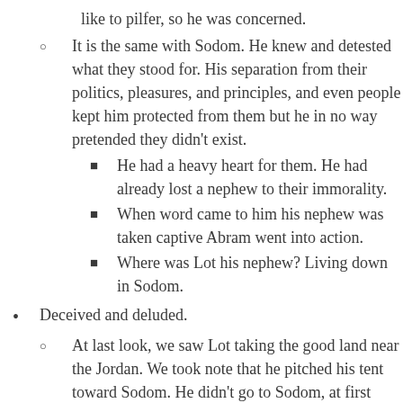like to pilfer, so he was concerned.
It is the same with Sodom. He knew and detested what they stood for. His separation from their politics, pleasures, and principles, and even people kept him protected from them but he in no way pretended they didn’t exist.
He had a heavy heart for them. He had already lost a nephew to their immorality.
When word came to him his nephew was taken captive Abram went into action.
Where was Lot his nephew? Living down in Sodom.
Deceived and deluded.
At last look, we saw Lot taking the good land near the Jordan. We took note that he pitched his tent toward Sodom. He didn’t go to Sodom, at first probably even talked about how wicked